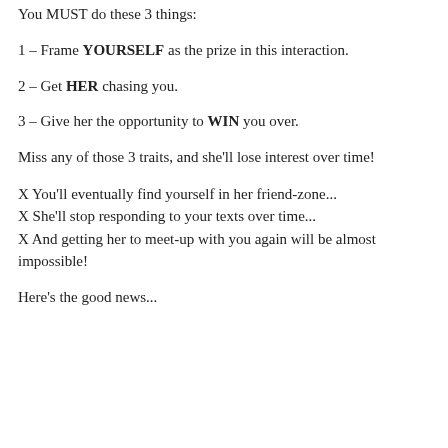You MUST do these 3 things:
1 – Frame YOURSELF as the prize in this interaction.
2 – Get HER chasing you.
3 – Give her the opportunity to WIN you over.
Miss any of those 3 traits, and she'll lose interest over time!
X You'll eventually find yourself in her friend-zone...
X She'll stop responding to your texts over time...
X And getting her to meet-up with you again will be almost impossible!
Here's the good news...